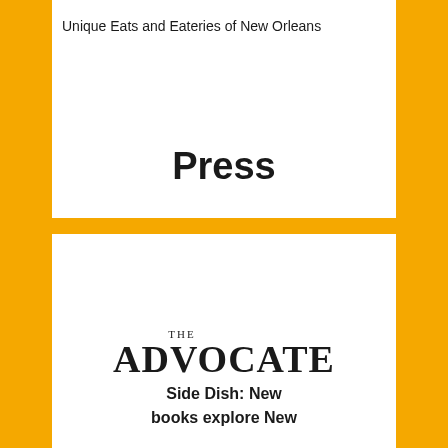Unique Eats and Eateries of New Orleans
Press
[Figure (logo): The Advocate newspaper logo in serif font with small 'THE' above stylized 'ADVOCATE' text]
Side Dish: New books explore New